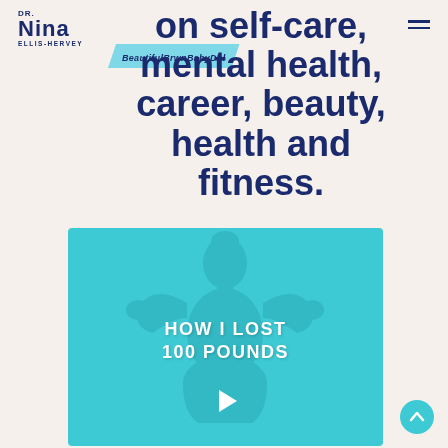[Figure (logo): Dr. Nina Ellis-Hervey logo with text DR. NINA ELLIS-HERVEY]
on self-care, mental health, career, beauty, health and fitness.
BeautifulBrwnBabyDol
[Figure (screenshot): Video thumbnail with cyan overlay showing a woman flexing her arms, text reads HOW I LOST 100 POUNDS with a play button]